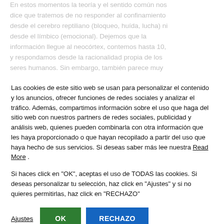En estos momentos la teoría y el sentido común nos dice que tratemos de no responder al confinamiento desde el cerebro reptiliano (bloqueo, huída, lucha) ni desde el límbico (emocional). Dejemos que la información llegue al neocórtex, contemos hasta 10, y respondamos desde la racionalidad propia de los seres humanos. Sin embargo, también parece muy
Las cookies de este sitio web se usan para personalizar el contenido y los anuncios, ofrecer funciones de redes sociales y analizar el tráfico. Además, compartimos información sobre el uso que haga del sitio web con nuestros partners de redes sociales, publicidad y análisis web, quienes pueden combinarla con otra información que les haya proporcionado o que hayan recopilado a partir del uso que haya hecho de sus servicios. Si deseas saber más lee nuestra Read More .
Si haces click en "OK", aceptas el uso de TODAS las cookies. Si deseas personalizar tu selección, haz click en "Ajustes" y si no quieres permitirlas, haz click en "RECHAZO"